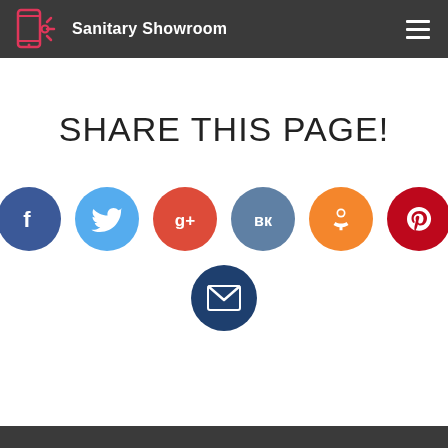Sanitary Showroom
SHARE THIS PAGE!
[Figure (infographic): Seven social media share buttons arranged in two rows: Facebook (dark blue), Twitter (light blue), Google+ (red), VK (steel blue), Odnoklassniki (orange), Pinterest (dark red) in the first row; Email (dark blue) in the second row centered below.]